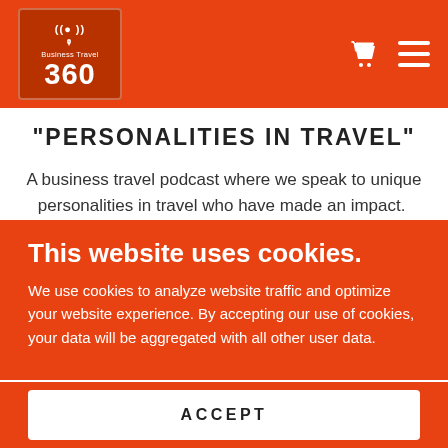Business Travel 360
"PERSONALITIES IN TRAVEL"
A business travel podcast where we speak to unique personalities in travel who have made an impact. This podcast is a great way to get an insight into what
This website uses cookies.
We use cookies to analyze website traffic and optimize your website experience. By accepting our use of cookies, your data will be aggregated with all other user data.
ACCEPT